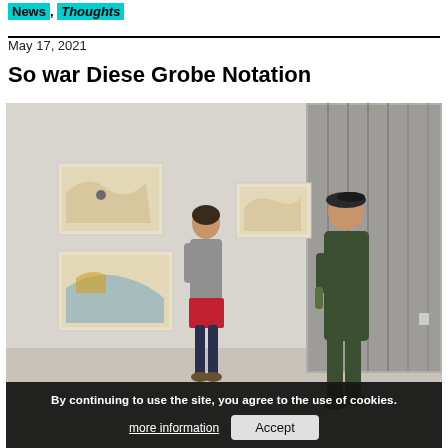News, Thoughts
May 17, 2021
So war Diese Grobe Notation
[Figure (photo): Art gallery interior showing two people talking — a woman in a grey hoodie and red skirt, and a man in a green boilersuit leaning against a curtained doorway. Paintings hang on the white walls to the left.]
By continuing to use the site, you agree to the use of cookies. more information Accept